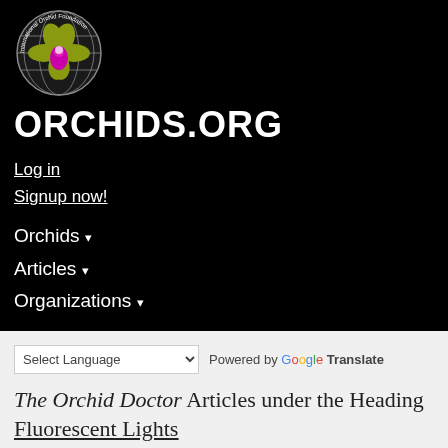[Figure (logo): International Orchid Foundation circular logo with orchid flower (yellow petals, magenta labellum) and globe background, with text around the circle]
ORCHIDS.ORG
Log in
Signup now!
Orchids ▾
Articles ▾
Organizations ▾
Select Language  Powered by Google Translate
The Orchid Doctor Articles under the Heading Fluorescent Lights
| Fluorescent Lights | Comments |
| --- | --- |